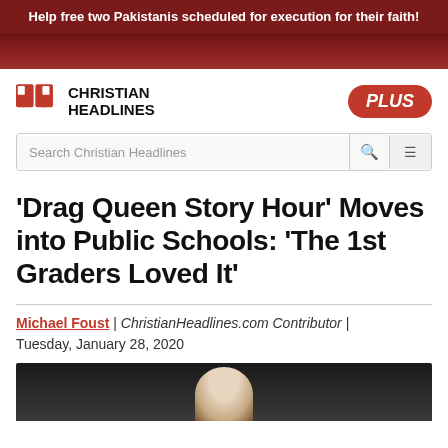Help free two Pakistanis scheduled for execution for their faith!
[Figure (logo): Christian Headlines logo with red bracket/speech bubble icon and bold CHRISTIAN HEADLINES text, plus orange PLUS badge]
[Figure (screenshot): Search bar with placeholder text 'Search Christian Headlines', magnifying glass icon, and hamburger menu button]
'Drag Queen Story Hour' Moves into Public Schools: 'The 1st Graders Loved It'
Michael Foust | ChristianHeadlines.com Contributor | Tuesday, January 28, 2020
[Figure (photo): Partial photo showing a figure from below, dark background, beginning of article image]